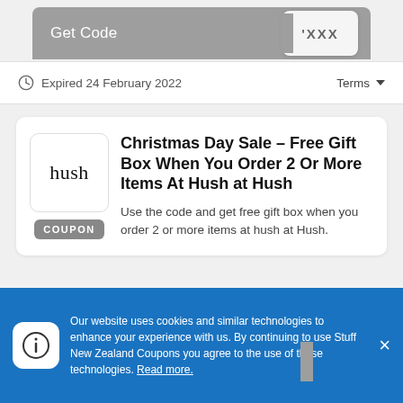Get Code  'XXX
Expired 24 February 2022   Terms
Christmas Day Sale – Free Gift Box When You Order 2 Or More Items At Hush at Hush
Use the code and get free gift box when you order 2 or more items at hush at Hush.
Get Code  'XXX
Our website uses cookies and similar technologies to enhance your experience with us. By continuing to use Stuff New Zealand Coupons you agree to the use of these technologies. Read more.